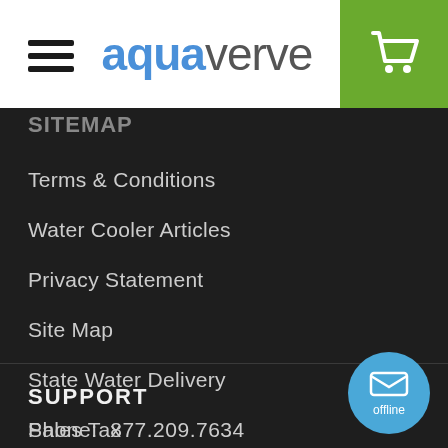[Figure (logo): Aquaverve logo with hamburger menu on left and green cart icon on right]
SITEMAP
Terms & Conditions
Water Cooler Articles
Privacy Statement
Site Map
State Water Delivery
Sales Tax
SUPPORT
Phone:  877.209.7634